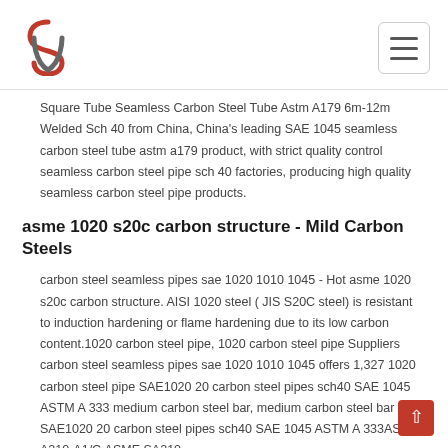Logo and navigation menu
Square Tube Seamless Carbon Steel Tube Astm A179 6m-12m Welded Sch 40 from China, China's leading SAE 1045 seamless carbon steel tube astm a179 product, with strict quality control seamless carbon steel pipe sch 40 factories, producing high quality seamless carbon steel pipe products.
asme 1020 s20c carbon structure - Mild Carbon Steels
carbon steel seamless pipes sae 1020 1010 1045 - Hot asme 1020 s20c carbon structure. AISI 1020 steel ( JIS S20C steel) is resistant to induction hardening or flame hardening due to its low carbon content.1020 carbon steel pipe, 1020 carbon steel pipe Suppliers carbon steel seamless pipes sae 1020 1010 1045 offers 1,327 1020 carbon steel pipe SAE1020 20 carbon steel pipes sch40 SAE 1045 ASTM A 333 medium carbon steel bar, medium carbon steel bar SAE1020 20 carbon steel pipes sch40 SAE 1045 ASTM A 333ASTM A210-A1/C,ASME SA210